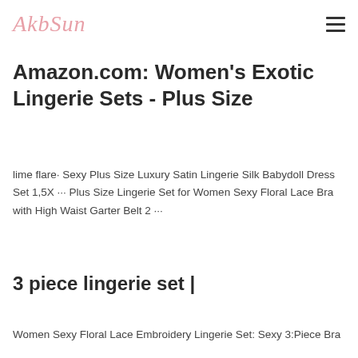AkbSun
Amazon.com: Women's Exotic Lingerie Sets - Plus Size
lime flare· Sexy Plus Size Luxury Satin Lingerie Silk Babydoll Dress Set 1,5X ··· Plus Size Lingerie Set for Women Sexy Floral Lace Bra with High Waist Garter Belt 2 ···
3 piece lingerie set |
Women Sexy Floral Lace Embroidery Lingerie Set: Sexy 3:Piece Bra